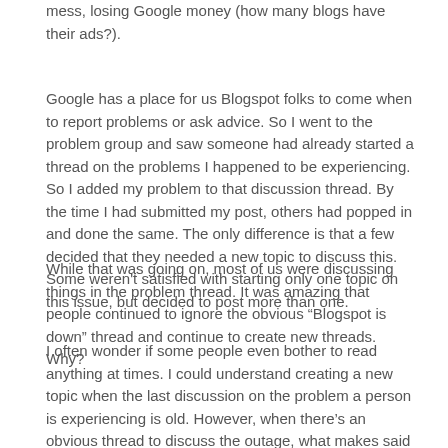mess, losing Google money (how many blogs have their ads?).
Google has a place for us Blogspot folks to come when to report problems or ask advice. So I went to the problem group and saw someone had already started a thread on the problems I happened to be experiencing. So I added my problem to that discussion thread. By the time I had submitted my post, others had popped in and done the same. The only difference is that a few decided that they needed a new topic to discuss this. Some weren't satisfied with starting only one topic on this issue, but decided to post more than one.
While that was going on, most of us were discussing things in the problem thread. It was amazing that people continued to ignore the obvious “Blogspot is down” thread and continue to create new threads. Why?
I often wonder if some people even bother to read anything at times. I could understand creating a new topic when the last discussion on the problem a person is experiencing is old. However, when there’s an obvious thread to discuss the outage, what makes said think that starting a new topic (or multiple new topics) is the way to go? Then they ask in their new thread, “Is anyone else having a problem?”